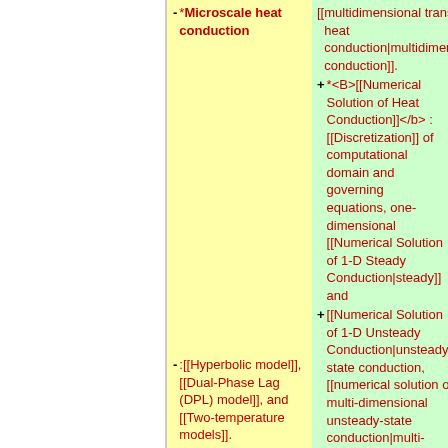- *<b>Microscale heat conduction</b>
- :[[Hyperbolic model]], [[Dual-Phase Lag (DPL) model]], and [[Two-temperature models]].
+ [[Multidimensional transient heat conduction|multidimensional conduction]].
+ *<B>[[Numerical Solution of Heat Conduction]]</b> :[[Discretization]] of computational domain and governing equations, one-dimensional [[Numerical Solution of 1-D Steady Conduction|steady]] and [[Numerical Solution of 1-D Unsteady Conduction|unsteady]] state conduction, [[numerical solution of multi-dimensional unsteady-state conduction|multi-dimensional unsteady-state conduction]], and